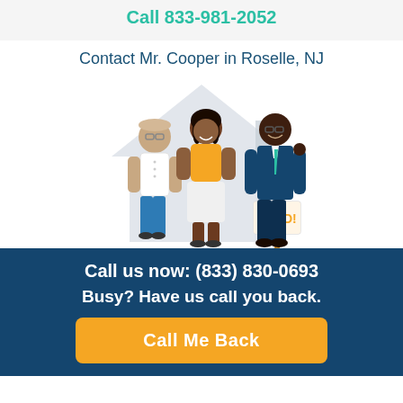Call 833-981-2052
Contact Mr. Cooper in Roselle, NJ
[Figure (illustration): Illustration of a couple and a real estate agent standing in front of a house with a SOLD sign]
Call us now: (833) 830-0693
Busy? Have us call you back.
Call Me Back